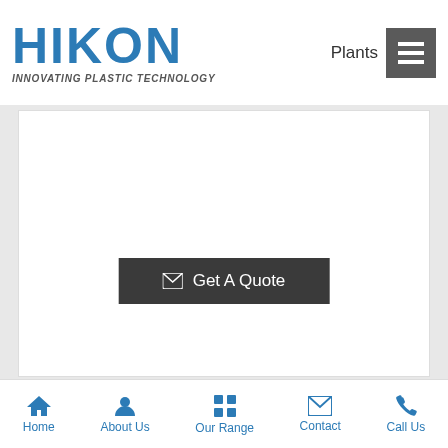HIKON - INNOVATING PLASTIC TECHNOLOGY
Plants
Get A Quote
PLASTIC WASTE RECYCLING MACHINE
PLASTIC RECYCLING EXTRUDER SINGLE STAGE MACHINE
EXTRUDER DOUBLE STAGE MACHINE
CUTTER COMPACTOR PLASTIC RECYCLING MACHINE
Get A Quote
Home   About Us   Our Range   Contact   Call Us